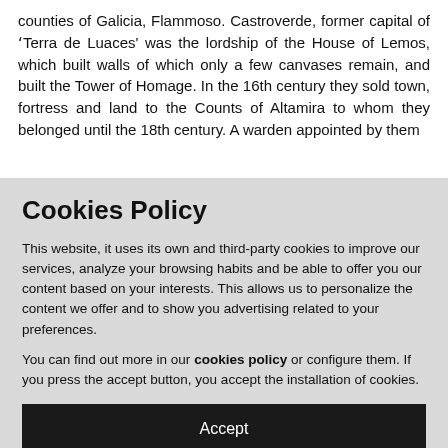counties of Galicia, Flammoso. Castroverde, former capital of 'Terra de Luaces' was the lordship of the House of Lemos, which built walls of which only a few canvases remain, and built the Tower of Homage. In the 16th century they sold town, fortress and land to the Counts of Altamira to whom they belonged until the 18th century. A warden appointed by them
Cookies Policy
This website, it uses its own and third-party cookies to improve our services, analyze your browsing habits and be able to offer you our content based on your interests. This allows us to personalize the content we offer and to show you advertising related to your preferences.
You can find out more in our cookies policy or configure them. If you press the accept button, you accept the installation of cookies.